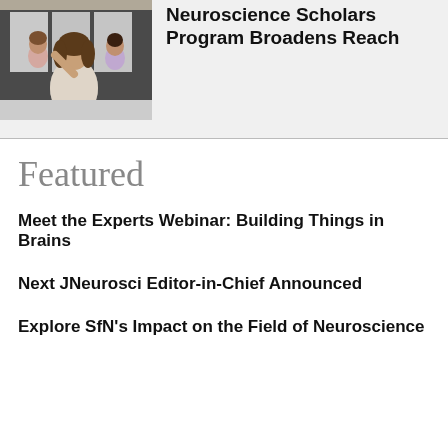[Figure (photo): Photo of a woman at a poster presentation at a neuroscience event, other attendees visible in background]
Neuroscience Scholars Program Broadens Reach
Featured
Meet the Experts Webinar: Building Things in Brains
Next JNeurosci Editor-in-Chief Announced
Explore SfN's Impact on the Field of Neuroscience